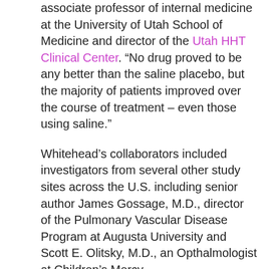associate professor of internal medicine at the University of Utah School of Medicine and director of the Utah HHT Clinical Center. “No drug proved to be any better than the saline placebo, but the majority of patients improved over the course of treatment – even those using saline.”
Whitehead’s collaborators included investigators from several other study sites across the U.S. including senior author James Gossage, M.D., director of the Pulmonary Vascular Disease Program at Augusta University and Scott E. Olitsky, M.D., an Opthalmologist at Children’s Mercy.
While nosebleeds are an occasional nuisance for most of us, they are an unpleasant fact of life for those with hemorrhagic telangiectasia (HHT). One bloody nose per week is not uncommon